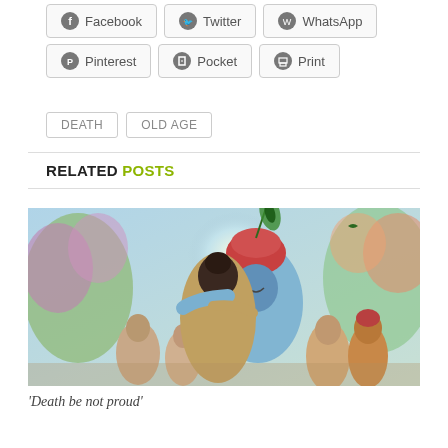Facebook
Twitter
WhatsApp
Pinterest
Pocket
Print
DEATH
OLD AGE
RELATED POSTS
[Figure (illustration): Indian devotional painting showing Lord Krishna with a blue complexion wearing a red turban with peacock feather, embracing a devotee from behind, surrounded by other figures in a garden setting with flowers]
'Death be not proud'